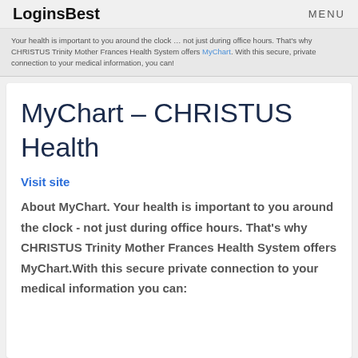LoginsBest  MENU
Your health is important to you around the clock … not just during office hours. That's why CHRISTUS Trinity Mother Frances Health System offers MyChart. With this secure, private connection to your medical information, you can!
MyChart – CHRISTUS Health
Visit site
About MyChart. Your health is important to you around the clock - not just during office hours. That's why CHRISTUS Trinity Mother Frances Health System offers MyChart.With this secure private connection to your medical information you can: